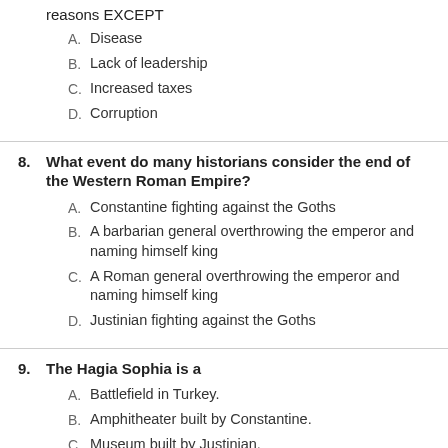reasons EXCEPT
A. Disease
B. Lack of leadership
C. Increased taxes
D. Corruption
8. What event do many historians consider the end of the Western Roman Empire?
A. Constantine fighting against the Goths
B. A barbarian general overthrowing the emperor and naming himself king
C. A Roman general overthrowing the emperor and naming himself king
D. Justinian fighting against the Goths
9. The Hagia Sophia is a
A. Battlefield in Turkey.
B. Amphitheater built by Constantine.
C. Museum built by Justinian.